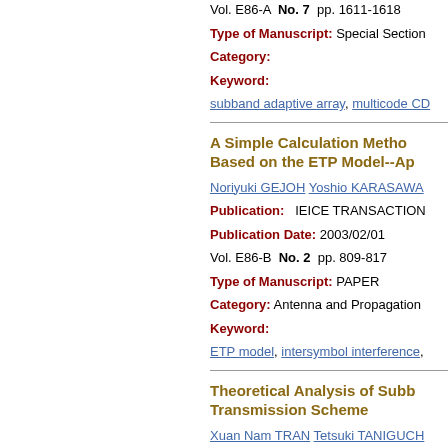Vol. E86-A  No. 7  pp. 1611-1618
Type of Manuscript:  Special Section
Category:
Keyword:
subband adaptive array, multicode CD
A Simple Calculation Method Based on the ETP Model--Ap
Noriyuki GEJOH  Yoshio KARASAWA
Publication:   IEICE TRANSACTION
Publication Date: 2003/02/01
Vol. E86-B  No. 2  pp. 809-817
Type of Manuscript:  PAPER
Category:  Antenna and Propagation
Keyword:
ETP model,  intersymbol interference,
Theoretical Analysis of Subb Transmission Scheme
Xuan Nam TRAN  Tetsuki TANIGUCH
Publication:   IEICE TRANSACTION
Publication Date: 2002/12/01